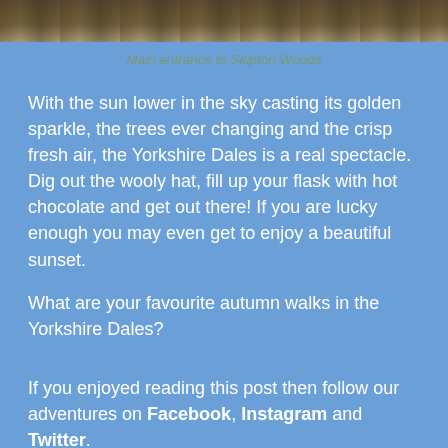[Figure (photo): Top portion of a photograph showing Skipton Woods entrance, showing stone structure and trees]
Main entrance to Skipton Woods
With the sun lower in the sky casting its golden sparkle, the trees ever changing and the crisp fresh air, the Yorkshire Dales is a real spectacle. Dig out the wooly hat, fill up your flask with hot chocolate and get out there! If you are lucky enough you may even get to enjoy a beautiful sunset.
What are your favourite autumn walks in the Yorkshire Dales?
If you enjoyed reading this post then follow our adventures on Facebook, Instagram and Twitter.